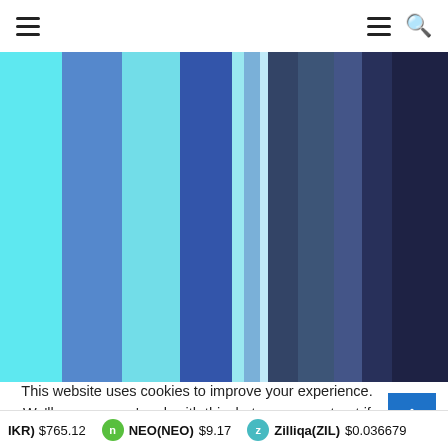Navigation header with hamburger menu and search icon
[Figure (other): Color palette visualization showing vertical bands of blue shades ranging from cyan/light blue on the left to dark navy blue on the right, with varying widths]
This website uses cookies to improve your experience. We'll assume you're ok with this, but you can opt-out if you w
IKR) $765.12   NEO(NEO) $9.17   Zilliqa(ZIL) $0.036679